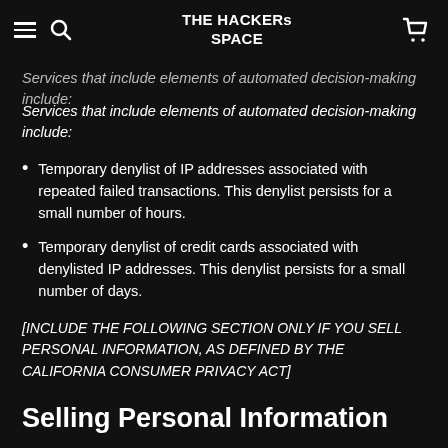THE HACKERs SPACE
Services that include elements of automated decision-making include:
Temporary denylist of IP addresses associated with repeated failed transactions. This denylist persists for a small number of hours.
Temporary denylist of credit cards associated with denylisted IP addresses. This denylist persists for a small number of days.
[INCLUDE THE FOLLOWING SECTION ONLY IF YOU SELL PERSONAL INFORMATION, AS DEFINED BY THE CALIFORNIA CONSUMER PRIVACY ACT]
Selling Personal Information